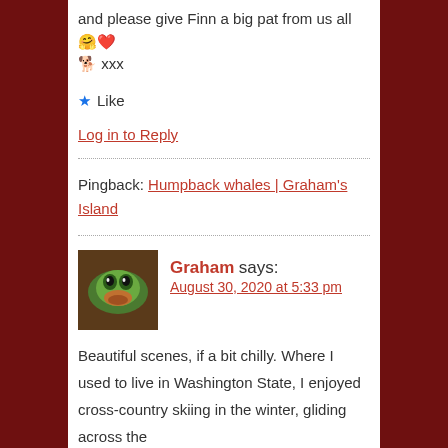and please give Finn a big pat from us all 🤗❤️ 🐕 xxx
★ Like
Log in to Reply
Pingback: Humpback whales | Graham's Island
Graham says:
August 30, 2020 at 5:33 pm
Beautiful scenes, if a bit chilly. Where I used to live in Washington State, I enjoyed cross-country skiing in the winter, gliding across the